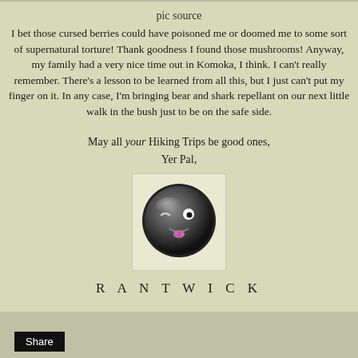pic source
I bet those cursed berries could have poisoned me or doomed me to some sort of supernatural torture! Thank goodness I found those mushrooms! Anyway, my family had a very nice time out in Komoka, I think. I can't really remember. There's a lesson to be learned from all this, but I just can't put my finger on it. In any case, I'm bringing bear and shark repellant on our next little walk in the bush just to be on the safe side.
May all your Hiking Trips be good ones, Yer Pal,
[Figure (illustration): A cartoon dark grey/black smiley face emoji with one eye winking and tongue sticking out, displayed in a light-colored box]
RANTWICK